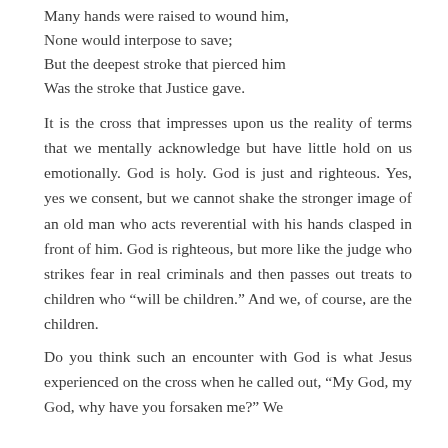Many hands were raised to wound him,
None would interpose to save;
But the deepest stroke that pierced him
Was the stroke that Justice gave.
It is the cross that impresses upon us the reality of terms that we mentally acknowledge but have little hold on us emotionally. God is holy. God is just and righteous. Yes, yes we consent, but we cannot shake the stronger image of an old man who acts reverential with his hands clasped in front of him. God is righteous, but more like the judge who strikes fear in real criminals and then passes out treats to children who “will be children.” And we, of course, are the children.
Do you think such an encounter with God is what Jesus experienced on the cross when he called out, “My God, my God, why have you forsaken me?” We